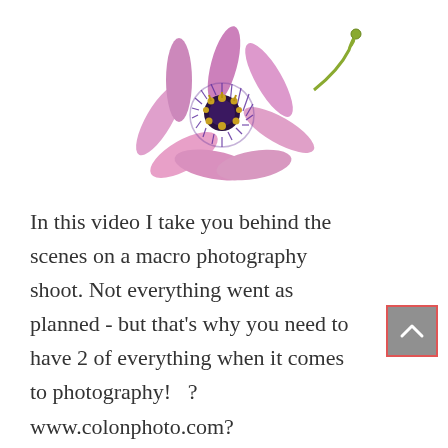[Figure (photo): A passionflower (purple and pink petals with yellow-green stamens and a green tendril) on a white background, positioned in the upper-center of the page.]
In this video I take you behind the scenes on a macro photography shoot. Not everything went as planned - but that's why you need to have 2 of everything when it comes to photography!  ?  www.colonphoto.com?  mikey@colonphoto.com?   917-703-